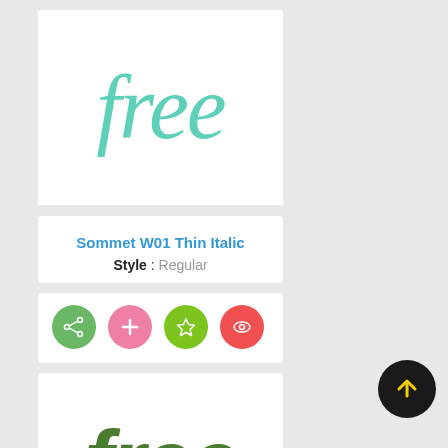[Figure (screenshot): Font preview card showing the word 'free' in Sommet W01 Thin Italic style, rendered in teal/mint thin italic script]
Sommet W01 Thin Italic
Style : Regular
[Figure (infographic): Four circular action buttons: green share icon, pink plus icon, green star icon, red/orange eye icon]
[Figure (screenshot): Font preview card showing the word 'free' in bold italic dark green style]
[Figure (infographic): Black circular back-to-top button with yellow upward arrow]